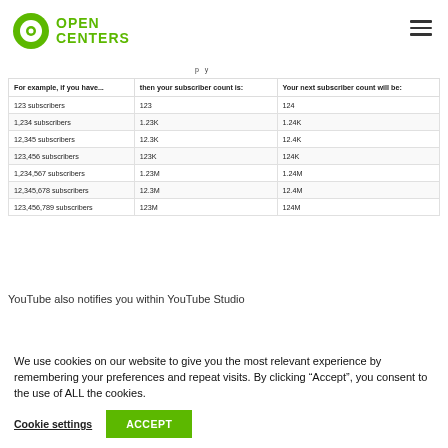Open Centers
p y
| For example, if you have... | then your subscriber count is: | Your next subscriber count will be: |
| --- | --- | --- |
| 123 subscribers | 123 | 124 |
| 1,234 subscribers | 1.23K | 1.24K |
| 12,345 subscribers | 12.3K | 12.4K |
| 123,456 subscribers | 123K | 124K |
| 1,234,567 subscribers | 1.23M | 1.24M |
| 12,345,678 subscribers | 12.3M | 12.4M |
| 123,456,789 subscribers | 123M | 124M |
YouTube also notifies you within YouTube Studio
We use cookies on our website to give you the most relevant experience by remembering your preferences and repeat visits. By clicking “Accept”, you consent to the use of ALL the cookies.
Cookie settings
ACCEPT